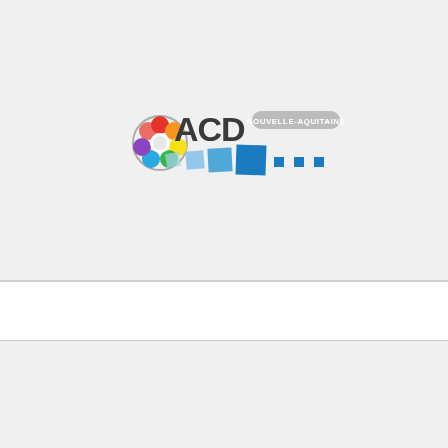[Figure (logo): ACD Nouvelle-Aquitaine logo with colorful flower/circle icon and blue square tiles pattern]
Nous utilisons des cookies sur notre site pour vous offrir l'expérience la plus pertinente en mémorisant vos préférences. En cliquant sur « Accepter», vous consentez à l'utilisation de TOUS les cookies.
Nous utilisons des cookies pour vous garantir la meilleure expérience sur notre site. Si vous continuez à utiliser ce dernier, nous considérerons que vous acceptez l'utilisation des cookies.
choisir les cookies   tout refuser   ok   accepter